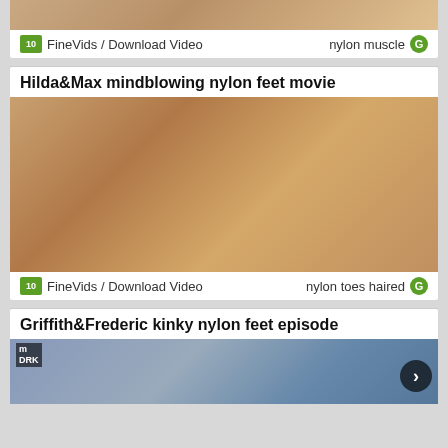[Figure (photo): Partial top thumbnail image cut off at top of page]
FineVids / Download Video    nylon muscle
Hilda&Max mindblowing nylon feet movie
[Figure (photo): Thumbnail image for Hilda&Max mindblowing nylon feet movie]
FineVids / Download Video    nylon toes haired
Griffith&Frederic kinky nylon feet episode
[Figure (photo): Partial thumbnail image for Griffith&Frederic kinky nylon feet episode, partially cut off at bottom]